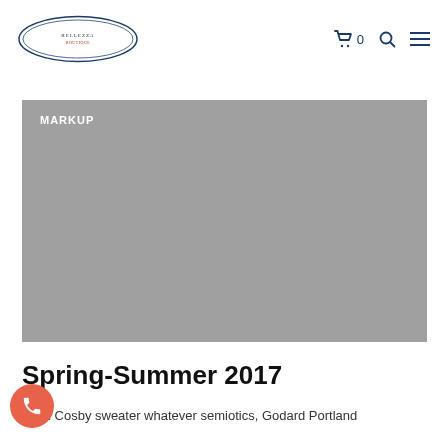Logo | Cart 0 | Search | Menu
[Figure (illustration): Gray placeholder image with 'MARKUP' label in top-left corner]
Spring-Summer 2017
ooed Cosby sweater whatever semiotics, Godard Portland